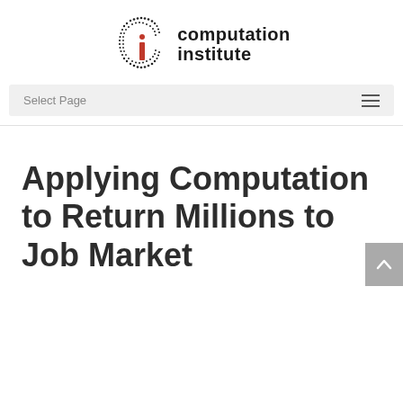[Figure (logo): Computation Institute logo with dotted 'Ci' icon and text 'computation institute']
Select Page
Applying Computation to Return Millions to Job Market